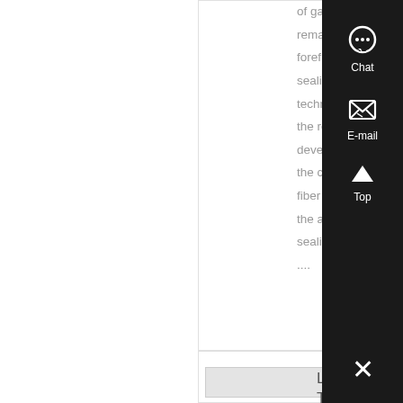of gaskets remains at the forefront of sealing technologi From the revolutionary development of the compressed fiber gasket to the advanced sealing material ....
Know More
[Figure (screenshot): Website sidebar with Chat, E-mail, Top navigation buttons and close (X) button on dark background]
[Figure (photo): Product image placeholder for Loctite High Temperature product]
Loctite High Temp...